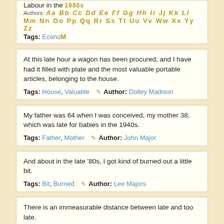Labour in the 1980s
Authors: Aa Bb Cc Dd Ee Ff Gg Hh Ii Jj Kk Ll Mm Nn Oo Pp Qq Rr Ss Tt Uu Vv Ww Xx Yy Zz
Tags: Economics
At this late hour a wagon has been procured, and I have had it filled with plate and the most valuable portable articles, belonging to the house.
Tags: House, Valuable  ✎  Author: Dolley Madison
My father was 64 when I was conceived, my mother 38, which was late for babies in the 1940s.
Tags: Father, Mother  ✎  Author: John Major
And about in the late '80s, I got kind of burned out a little bit.
Tags: Bit, Burned  ✎  Author: Lee Majors
There is an immeasurable distance between late and too late.